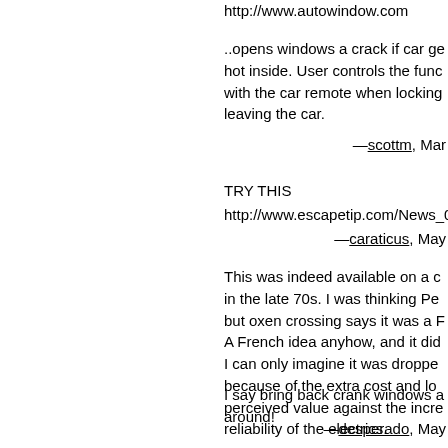http://www.autowindow.com
..opens windows a crack if car ge hot inside. User controls the func with the car remote when locking leaving the car.
—scottm, Mar
TRY THIS
http://www.escapetip.com/News_0
—caraticus, May
This was indeed available on a c in the late 70s. I was thinking Pe but oxen crossing says it was a F A French idea anyhow, and it did I can only imagine it was droppe because of the extra cost and lo perceived value against the incre reliability of the electrics.
I say bring back crank windows a around!
—desperado, May
<shamelessplug>How about a P Sawzall? Cuts through seatbelts, even Irish Soda Bread!